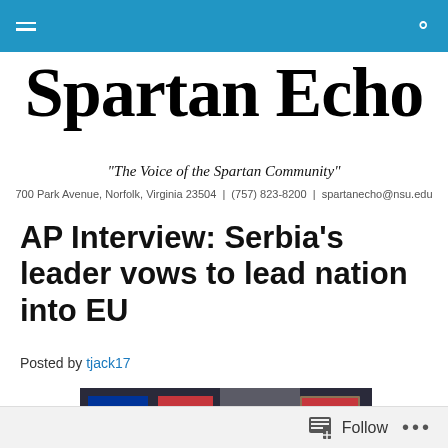Navigation bar with hamburger menu and search icon
Spartan Echo
"The Voice of the Spartan Community"
700 Park Avenue, Norfolk, Virginia 23504  |  (757) 823-8200  |  spartanecho@nsu.edu
AP Interview: Serbia's leader vows to lead nation into EU
Posted by tjack17
[Figure (photo): Photo showing EU and Serbian flags side by side in background of interview setting]
Follow  ...